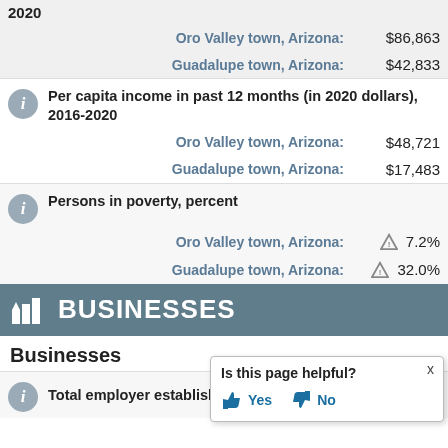2020
Oro Valley town, Arizona: $86,863
Guadalupe town, Arizona: $42,833
Per capita income in past 12 months (in 2020 dollars), 2016-2020
Oro Valley town, Arizona: $48,721
Guadalupe town, Arizona: $17,483
Persons in poverty, percent
Oro Valley town, Arizona: 7.2%
Guadalupe town, Arizona: 32.0%
BUSINESSES
Businesses
Total employer establishment
Is this page helpful? Yes No